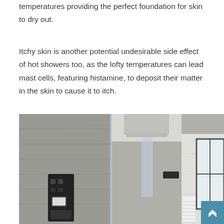temperatures providing the perfect foundation for skin to dry out.
Itchy skin is another potential undesirable side effect of hot showers too, as the lofty temperatures can lead mast cells, featuring histamine, to deposit their matter in the skin to cause it to itch.
[Figure (photo): Modern luxury shower interior with gray stone tile walls, a ceiling-mounted rainfall showerhead with falling water, a glass partition, black shower controls panel on the left wall, a small dark rectangular control unit on the right wall, and a window with white frame on the far right.]